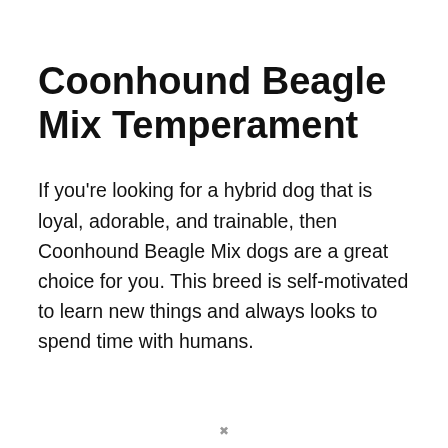Coonhound Beagle Mix Temperament
If you're looking for a hybrid dog that is loyal, adorable, and trainable, then Coonhound Beagle Mix dogs are a great choice for you. This breed is self-motivated to learn new things and always looks to spend time with humans.